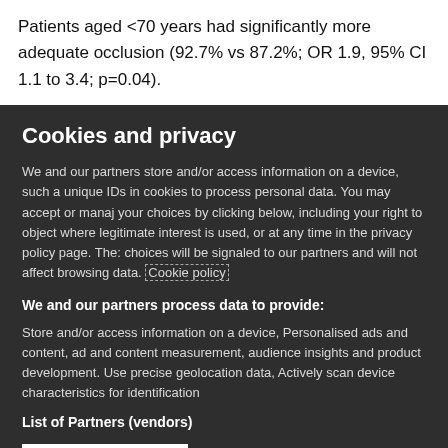Patients aged <70 years had significantly more adequate occlusion (92.7% vs 87.2%; OR 1.9, 95% CI 1.1 to 3.4; p=0.04).
Cookies and privacy
We and our partners store and/or access information on a device, such a unique IDs in cookies to process personal data. You may accept or mana your choices by clicking below, including your right to object where legitimate interest is used, or at any time in the privacy policy page. The choices will be signaled to our partners and will not affect browsing data. Cookie policy
We and our partners process data to provide:
Store and/or access information on a device, Personalised ads and content, ad and content measurement, audience insights and product development. Use precise geolocation data, Actively scan device characteristics for identification
List of Partners (vendors)
I Accept